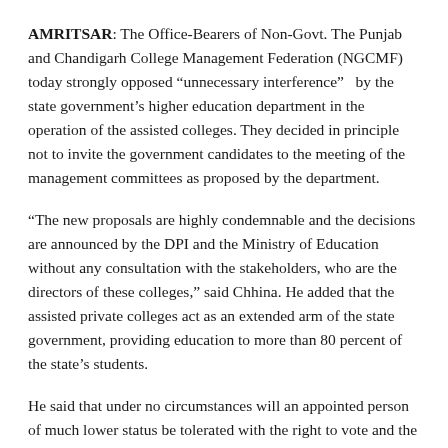AMRITSAR: The Office-Bearers of Non-Govt. The Punjab and Chandigarh College Management Federation (NGCMF) today strongly opposed “unnecessary interference” by the state government’s higher education department in the operation of the assisted colleges. They decided in principle not to invite the government candidates to the meeting of the management committees as proposed by the department.
“The new proposals are highly condemnable and the decisions are announced by the DPI and the Ministry of Education without any consultation with the stakeholders, who are the directors of these colleges,” said Chhina. He added that the assisted private colleges act as an extended arm of the state government, providing education to more than 80 percent of the state’s students.
He said that under no circumstances will an appointed person of much lower status be tolerated with the right to vote and the right of veto. OB members were of the opinion that already three government agencies were auditing college accounts in addition to their appointed and statutory audits by Chartered Accountants.